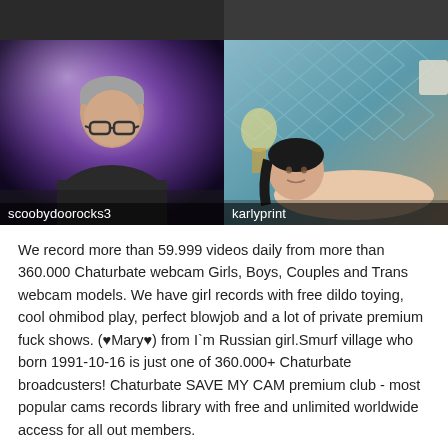[Figure (photo): Two thumbnail webcam images side by side. Left shows a man with glasses and grey hair against a purple background, labeled 'scoobydoorocks3'. Right shows a woman lying down with a teal/blue padded headboard background, labeled 'karlyprint'. Above these is a dark strip showing partial thumbnails.]
We record more than 59.999 videos daily from more than 360.000 Chaturbate webcam Girls, Boys, Couples and Trans webcam models. We have girl records with free dildo toying, cool ohmibod play, perfect blowjob and a lot of private premium fuck shows. (♥Mary♥) from I`m Russian girl.Smurf village who born 1991-10-16 is just one of 360.000+ Chaturbate broadcusters! Chaturbate SAVE MY CAM premium club - most popular cams records library with free and unlimited worldwide access for all out members.
We record the webcam broadcasts in the original quality. More and more webcam models are broadcasting in high resolution, so on